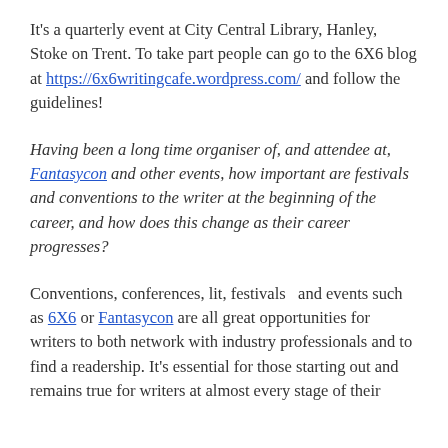It's a quarterly event at City Central Library, Hanley, Stoke on Trent. To take part people can go to the 6X6 blog at https://6x6writingcafe.wordpress.com/ and follow the guidelines!
Having been a long time organiser of, and attendee at, Fantasycon and other events, how important are festivals and conventions to the writer at the beginning of the career, and how does this change as their career progresses?
Conventions, conferences, lit, festivals  and events such as 6X6 or Fantasycon are all great opportunities for writers to both network with industry professionals and to find a readership. It's essential for those starting out and remains true for writers at almost every stage of their